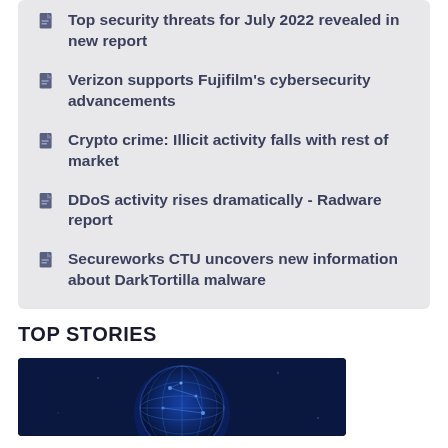Top security threats for July 2022 revealed in new report
Verizon supports Fujifilm's cybersecurity advancements
Crypto crime: Illicit activity falls with rest of market
DDoS activity rises dramatically - Radware report
Secureworks CTU uncovers new information about DarkTortilla malware
TOP STORIES
[Figure (illustration): Dark blue globe/earth illustration with network lines, representing cybersecurity or global connectivity]